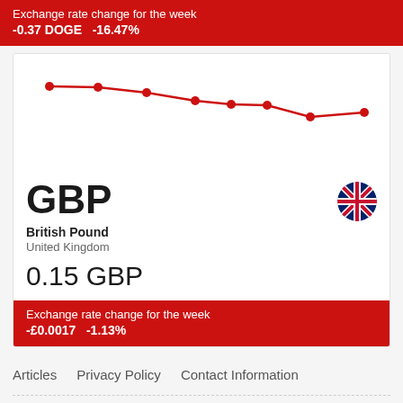Exchange rate change for the week
-0.37 DOGE   -16.47%
[Figure (line-chart): DOGE to GBP weekly exchange rate]
GBP
British Pound
United Kingdom
0.15 GBP
Exchange rate change for the week
-£0.0017   -1.13%
Articles   Privacy Policy   Contact Information
© 2013–2022 Exchangerate.guru